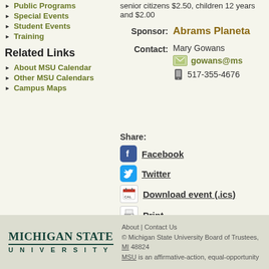Public Programs
Special Events
Student Events
Training
Related Links
About MSU Calendar
Other MSU Calendars
Campus Maps
senior citizens $2.50, children 12 years and $2.00
Sponsor: Abrams Planeta
Contact: Mary Gowans
gowans@ms
517-355-4676
Share:
Facebook
Twitter
Download event (.ics)
Print
About | Contact Us
© Michigan State University Board of Trustees, MI 48824
MSU is an affirmative-action, equal-opportunity